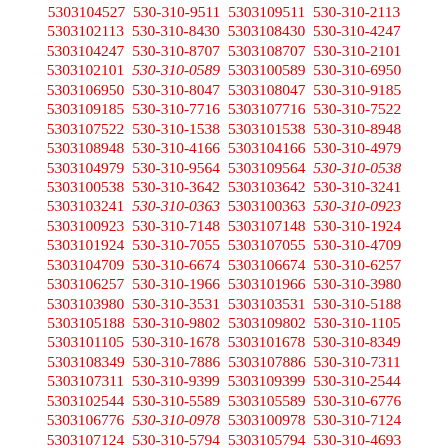5303104527 530-310-9511 5303109511 530-310-2113 5303102113 530-310-8430 5303108430 530-310-4247 5303104247 530-310-8707 5303108707 530-310-2101 5303102101 530-310-0589 5303100589 530-310-6950 5303106950 530-310-8047 5303108047 530-310-9185 5303109185 530-310-7716 5303107716 530-310-7522 5303107522 530-310-1538 5303101538 530-310-8948 5303108948 530-310-4166 5303104166 530-310-4979 5303104979 530-310-9564 5303109564 530-310-0538 5303100538 530-310-3642 5303103642 530-310-3241 5303103241 530-310-0363 5303100363 530-310-0923 5303100923 530-310-7148 5303107148 530-310-1924 5303101924 530-310-7055 5303107055 530-310-4709 5303104709 530-310-6674 5303106674 530-310-6257 5303106257 530-310-1966 5303101966 530-310-3980 5303103980 530-310-3531 5303103531 530-310-5188 5303105188 530-310-9802 5303109802 530-310-1105 5303101105 530-310-1678 5303101678 530-310-8349 5303108349 530-310-7886 5303107886 530-310-7311 5303107311 530-310-9399 5303109399 530-310-2544 5303102544 530-310-5589 5303105589 530-310-6776 5303106776 530-310-0978 5303100978 530-310-7124 5303107124 530-310-5794 5303105794 530-310-4693 5303104693 530-310-2309 5303102309 530-310-2694 5303102694 530-310-6222 5303106222 530-310-4775